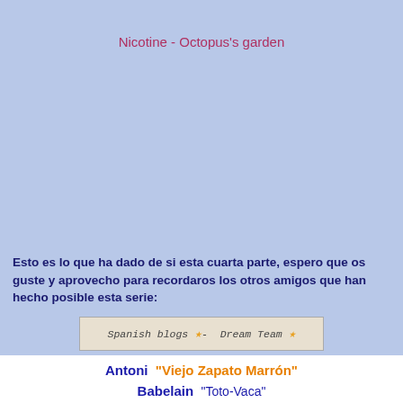Nicotine - Octopus's garden
Esto es lo que ha dado de si esta cuarta parte, espero que os guste y aprovecho para recordaros los otros amigos que han hecho posible esta serie:
[Figure (illustration): Spanish Blogs Dream Team banner with star decorations]
Antoni  "Viejo Zapato Marrón"
Babelain  "Toto-Vaca"